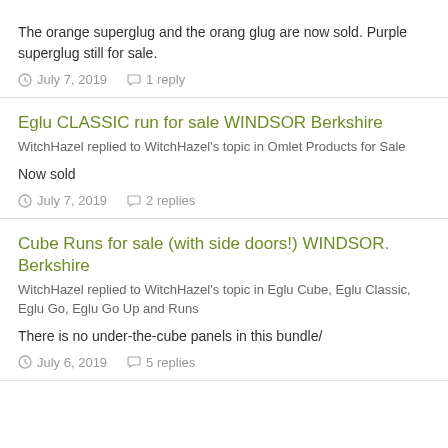The orange superglug and the orang glug are now sold. Purple superglug still for sale.
July 7, 2019   1 reply
Eglu CLASSIC run for sale WINDSOR Berkshire
WitchHazel replied to WitchHazel's topic in Omlet Products for Sale
Now sold
July 7, 2019   2 replies
Cube Runs for sale (with side doors!) WINDSOR. Berkshire
WitchHazel replied to WitchHazel's topic in Eglu Cube, Eglu Classic, Eglu Go, Eglu Go Up and Runs
There is no under-the-cube panels in this bundle/
July 6, 2019   5 replies